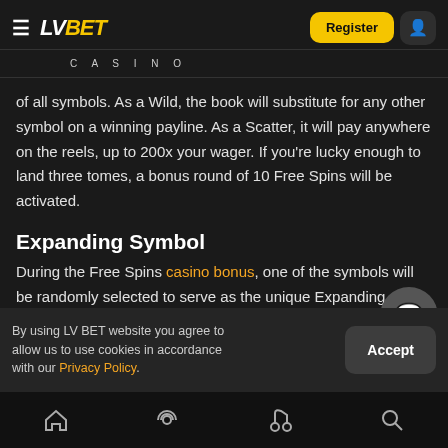LV BET CASINO — Register
of all symbols. As a Wild, the book will substitute for any other symbol on a winning payline. As a Scatter, it will pay anywhere on the reels, up to 200x your wager. If you're lucky enough to land three tomes, a bonus round of 10 Free Spins will be activated.
Expanding Symbol
During the Free Spins casino bonus, one of the symbols will be randomly selected to serve as the unique Expanding Symbol. This symbol will
By using LV BET website you agree to allow us to use cookies in accordance with our Privacy Policy.
Home | Live | Slots | Search